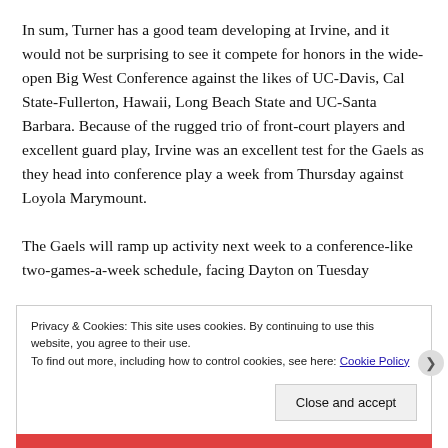In sum, Turner has a good team developing at Irvine, and it would not be surprising to see it compete for honors in the wide-open Big West Conference against the likes of UC-Davis, Cal State-Fullerton, Hawaii, Long Beach State and UC-Santa Barbara. Because of the rugged trio of front-court players and excellent guard play, Irvine was an excellent test for the Gaels as they head into conference play a week from Thursday against Loyola Marymount.

The Gaels will ramp up activity next week to a conference-like two-games-a-week schedule, facing Dayton on Tuesday
Privacy & Cookies: This site uses cookies. By continuing to use this website, you agree to their use.
To find out more, including how to control cookies, see here: Cookie Policy
Close and accept